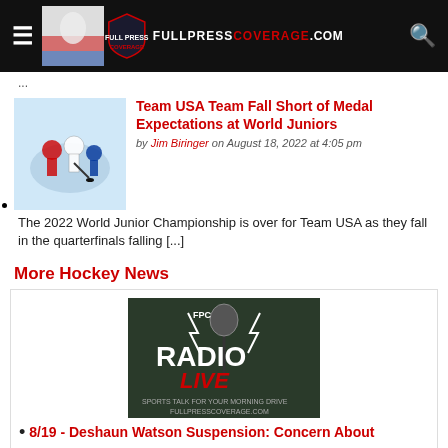FULLPRESSCOVERAGE.COM
Team USA Team Fall Short of Medal Expectations at World Juniors by Jim Biringer on August 18, 2022 at 4:05 pm The 2022 World Junior Championship is over for Team USA as they fall in the quarterfinals falling [...]
More Hockey News
[Figure (logo): FPC Radio Live logo - Sports Talk for Your Morning Drive, fullpresscoverage.com]
8/19 - Deshaun Watson Suspension: Concern About